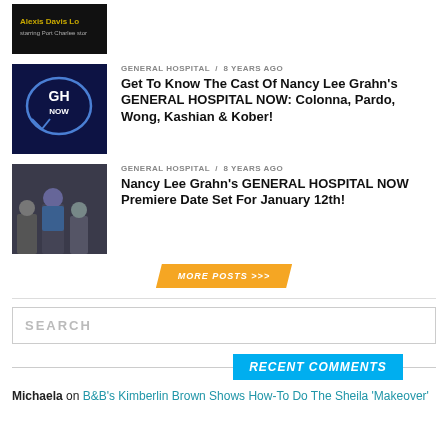[Figure (photo): Partial thumbnail image of Alexis Davis Lee, dark background with text overlay]
[Figure (photo): General Hospital NOW logo on dark blue background with GH speech bubble logo]
GENERAL HOSPITAL / 8 years ago
Get To Know The Cast Of Nancy Lee Grahn's GENERAL HOSPITAL NOW: Colonna, Pardo, Wong, Kashian & Kober!
[Figure (photo): Scene with people talking, woman in blue top]
GENERAL HOSPITAL / 8 years ago
Nancy Lee Grahn's GENERAL HOSPITAL NOW Premiere Date Set For January 12th!
MORE POSTS >>>
SEARCH
RECENT COMMENTS
Michaela on B&B's Kimberlin Brown Shows How-To Do The Sheila 'Makeover'